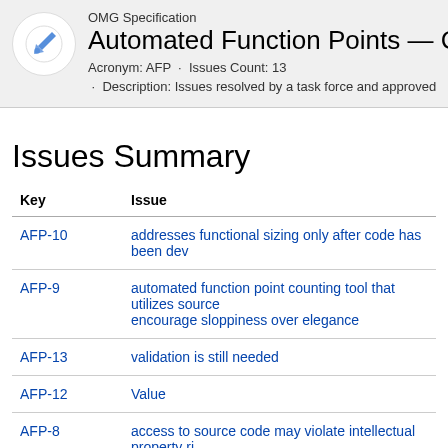OMG Specification
Automated Function Points — Clos...
Acronym: AFP · Issues Count: 13
· Description: Issues resolved by a task force and approved...
Issues Summary
| Key | Issue |
| --- | --- |
| AFP-10 | addresses functional sizing only after code has been dev... |
| AFP-9 | automated function point counting tool that utilizes source... encourage sloppiness over elegance |
| AFP-13 | validation is still needed |
| AFP-12 | Value |
| AFP-8 | access to source code may violate intellectual property ri... |